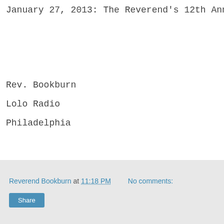January 27, 2013: The Reverend's 12th Annivers...
Rev. Bookburn
Lolo Radio
Philadelphia
Reverend Bookburn at 11:18 PM   No comments:  Share